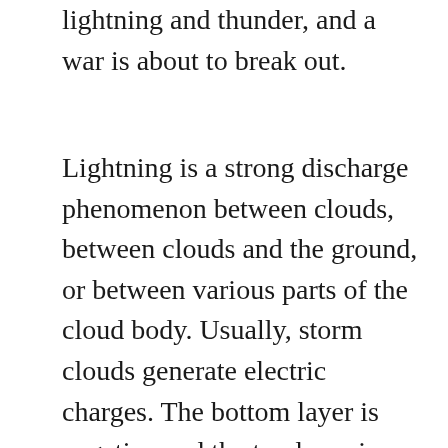lightning and thunder, and a war is about to break out.
Lightning is a strong discharge phenomenon between clouds, between clouds and the ground, or between various parts of the cloud body. Usually, storm clouds generate electric charges. The bottom layer is negative and the top layer is positive. In addition, they also generate positive charges on the ground and follow the clouds. Positive and negative charges attract each other, but air is not a good conductor. Positive charges rush to the top of trees, hills, tall buildings and even the human body, trying to meet the clouds with negative charges; The negatively charged branched antennae extend downward, and the more they